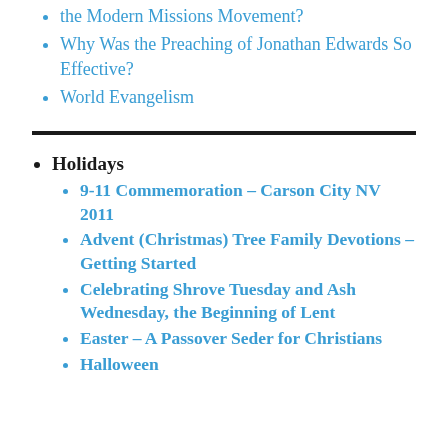the Modern Missions Movement?
Why Was the Preaching of Jonathan Edwards So Effective?
World Evangelism
Holidays
9-11 Commemoration - Carson City NV 2011
Advent (Christmas) Tree Family Devotions - Getting Started
Celebrating Shrove Tuesday and Ash Wednesday, the Beginning of Lent
Easter - A Passover Seder for Christians
Halloween